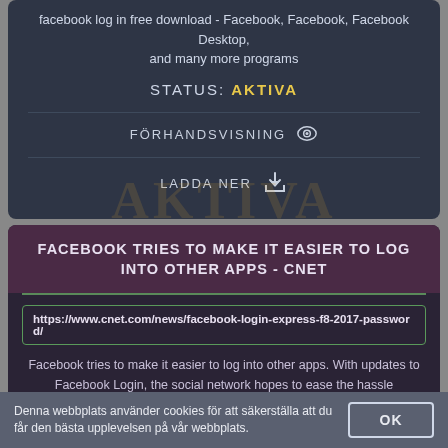facebook log in free download - Facebook, Facebook, Facebook Desktop, and many more programs
STATUS: AKTIVA
FÖRHANDSVISNING
LADDA NER
FACEBOOK TRIES TO MAKE IT EASIER TO LOG INTO OTHER APPS - CNET
https://www.cnet.com/news/facebook-login-express-f8-2017-password/
Facebook tries to make it easier to log into other apps. With updates to Facebook Login, the social network hopes to ease the hassle associated with forgotten passwords.
Denna webbplats använder cookies för att säkerställa att du får den bästa upplevelsen på vår webbplats.